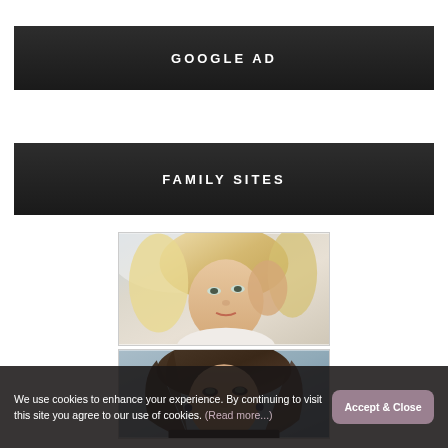GOOGLE AD
FAMILY SITES
[Figure (photo): Close-up photo of a blonde woman with tousled hair, light blue background, fashion/glamour style portrait]
[Figure (photo): Close-up photo of a brunette woman with wavy dark hair, light blue-grey background, fashion/glamour style portrait]
We use cookies to enhance your experience. By continuing to visit this site you agree to our use of cookies. (Read more...)
Accept & Close